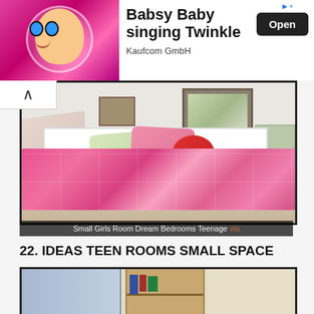[Figure (screenshot): Advertisement banner for Babsy Baby singing Twinkle app by Kaufcom GmbH with animated baby image and Open button]
[Figure (photo): Small girls room with pink patchwork quilt bedspread, green and pink pillows, wall art, and ironing board visible]
Small Girls Room Dream Bedrooms Teenage via
22. IDEAS TEEN ROOMS SMALL SPACE
[Figure (photo): Teen room with small space design showing wardrobe, bookshelf with books, and beige wall]